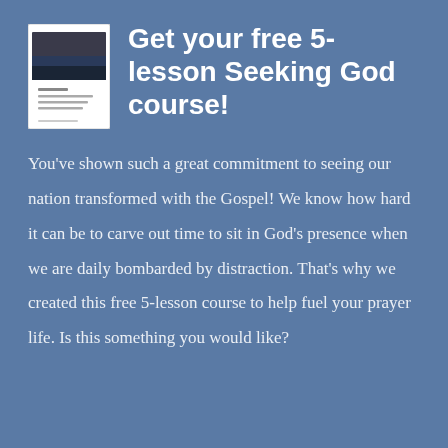[Figure (illustration): Small thumbnail image of a booklet or course document cover with a dark photo on the top portion and white space below, representing the Seeking God course material.]
Get your free 5-lesson Seeking God course!
You’ve shown such a great commitment to seeing our nation transformed with the Gospel! We know how hard it can be to carve out time to sit in God’s presence when we are daily bombarded by distraction. That’s why we created this free 5-lesson course to help fuel your prayer life. Is this something you would like?